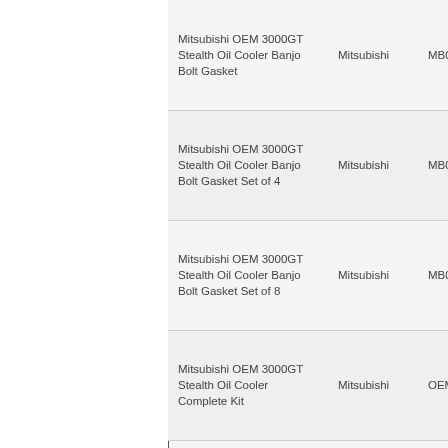| Product Name | Brand | SKU |
| --- | --- | --- |
| Mitsubishi OEM 3000GT Stealth Oil Cooler Banjo Bolt Gasket | Mitsubishi | MB033054 |
| Mitsubishi OEM 3000GT Stealth Oil Cooler Banjo Bolt Gasket Set of 4 | Mitsubishi | MB033054X4 |
| Mitsubishi OEM 3000GT Stealth Oil Cooler Banjo Bolt Gasket Set of 8 | Mitsubishi | MB033054X8 |
| Mitsubishi OEM 3000GT Stealth Oil Cooler Complete Kit | Mitsubishi | OEMcoolerkit |